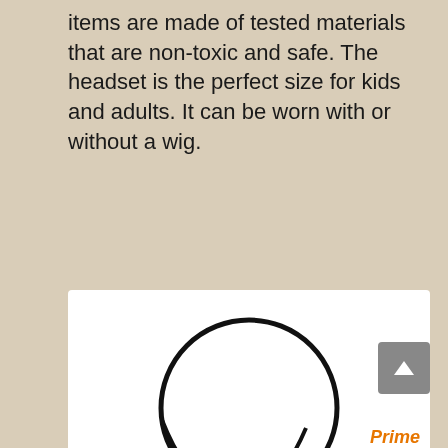items are made of tested materials that are non-toxic and safe. The headset is the perfect size for kids and adults. It can be worn with or without a wig.
[Figure (illustration): A simple line drawing of a headset/headphones with a microphone boom arm extending from the left ear cup, shown from the front. The headset consists of a circular headband, two ear cups, and a curved microphone arm.]
Skeleteen Rockstar Costume Accessories Headset - Fake Rock Star MJ Singer Microphone and Headphones Costume Accessory Prop